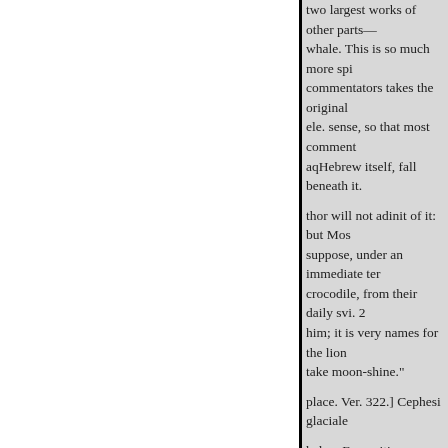two largest works of other parts— whale. This is so much more spi commentators takes the original ele. sense, so that most comment aqHebrew itself, fall beneath it.
thor will not adinit of it: but Mos suppose, under an immediate ter crocodile, from their daily svi. 2 him; it is very names for the lion take moon-shine."
place. Ver. 322.] Cephesi glaciale
helam Ferre sitim Python, amner
ON DR. YOUNG'S
Stat. Theb, v. 349.
Qui spiris tegeret montes, h Flumina, &c.
Claud. Pref. in Ruf. The poem Had long sustain'd poor Job's un grandeur, clad in mean array, nar inglorious lay; tion, through fear